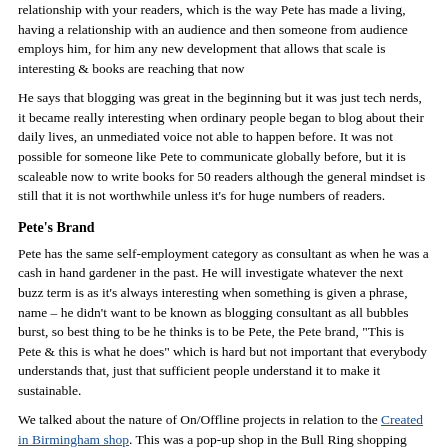relationship with your readers, which is the way Pete has made a living, having a relationship with an audience and then someone from audience employs him, for him any new development that allows that scale is interesting & books are reaching that now
He says that blogging was great in the beginning but it was just tech nerds, it became really interesting when ordinary people began to blog about their daily lives, an unmediated voice not able to happen before. It was not possible for someone like Pete to communicate globally before, but it is scaleable now to write books for 50 readers although the general mindset is still that it is not worthwhile unless it's for huge numbers of readers.
Pete's Brand
Pete has the same self-employment category as consultant as when he was a cash in hand gardener in the past. He will investigate whatever the next buzz term is as it's always interesting when something is given a phrase, name – he didn't want to be known as blogging consultant as all bubbles burst, so best thing to be he thinks is to be Pete, the Pete brand, "This is Pete & this is what he does" which is hard but not important that everybody understands that, just that sufficient people understand it to make it sustainable.
We talked about the nature of On/Offline projects in relation to the Created in Birmingham shop. This was a pop-up shop in the Bull Ring shopping centre in Birmingham which "became ridiculously busy, got a lot of attention and made a lot of money for the artists". In Pete's opinion the nice thing about doing stuff online is if you fail, you can just switch it off, but when you do things offline you have "things": infrastructure, furniture, shutting things down, payments, electricity bills, it stops being fun. People tend to think "it worked online so we can do it offline" but it's quite a leap from chatting on